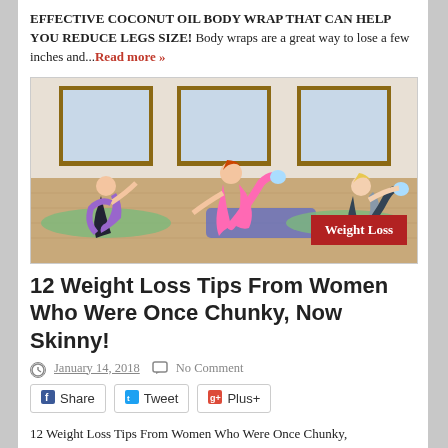EFFECTIVE COCONUT OIL BODY WRAP THAT CAN HELP YOU REDUCE LEGS SIZE! Body wraps are a great way to lose a few inches and...Read more »
[Figure (photo): Three women doing a donkey-kick exercise on yoga mats in a fitness studio, with a 'Weight Loss' badge in the bottom-right corner.]
12 Weight Loss Tips From Women Who Were Once Chunky, Now Skinny!
January 14, 2018   No Comment
Share  Tweet  Plus+
12 Weight Loss Tips From Women Who Were Once Chunky,